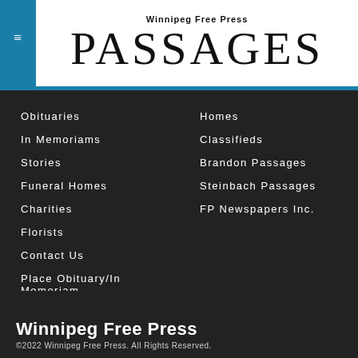Winnipeg Free Press PASSAGES
Obituaries
In Memoriams
Stories
Funeral Homes
Charities
Florists
Contact Us
Place Obituary/In Memoriam
Email Alerts
Terms & Conditions
Homes
Classifieds
Brandon Passages
Steinbach Passages
FP Newspapers Inc.
Winnipeg Free Press
©2022 Winnipeg Free Press. All Rights Reserved.